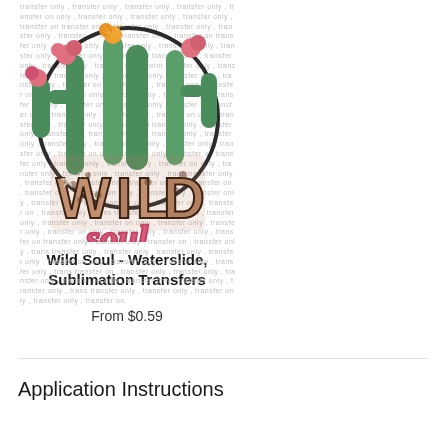[Figure (illustration): Wild Soul cactus design with leopard print block letters spelling WILD and cursive letters spelling soul, with pink/red flowers, green cacti, and a circular frame, overlaid with repeating 'transfer only' watermark text]
Wild Soul - Waterslide, Sublimation Transfers
From $0.59
Application Instructions